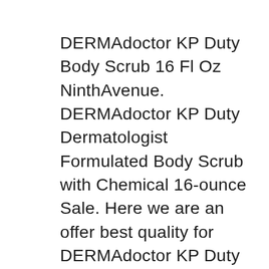DERMAdoctor KP Duty Body Scrub 16 Fl Oz NinthAvenue. DERMAdoctor KP Duty Dermatologist Formulated Body Scrub with Chemical 16-ounce Sale. Here we are an offer best quality for DERMAdoctor KP Duty Dermatologist Formulated Body Scrub with Chemical 16-ounce Shopping and guarantee cheaper than other online shopping store. Look inside store for getting more discount, read best our reviews below. You should buy DERMAdoctor KP Duty Dermatologist DERMAdoctor KP DutyB® Body Scrub Best Price. If you are searching for read reviews DERMAdoctor KP DutyB® Body Scrub Online. We would recommend this store